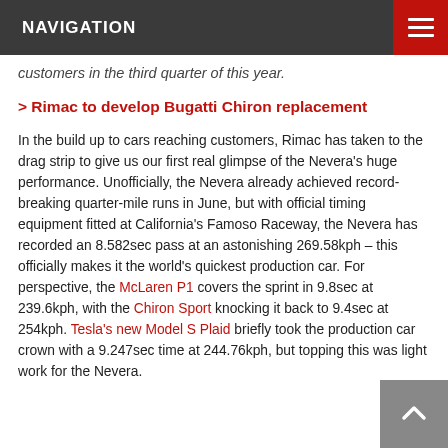NAVIGATION
customers in the third quarter of this year.
> Rimac to develop Bugatti Chiron replacement
In the build up to cars reaching customers, Rimac has taken to the drag strip to give us our first real glimpse of the Nevera's huge performance. Unofficially, the Nevera already achieved record-breaking quarter-mile runs in June, but with official timing equipment fitted at California's Famoso Raceway, the Nevera has recorded an 8.582sec pass at an astonishing 269.58kph – this officially makes it the world's quickest production car. For perspective, the McLaren P1 covers the sprint in 9.8sec at 239.6kph, with the Chiron Sport knocking it back to 9.4sec at 254kph. Tesla's new Model S Plaid briefly took the production car crown with a 9.247sec time at 244.76kph, but topping this was light work for the Nevera.